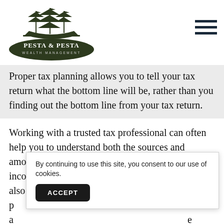[Figure (logo): Pesta & Pesta Wealth Management logo with sailing ship above the company name in an oval badge]
Proper tax planning allows you to tell your tax return what the bottom line will be, rather than you finding out the bottom line from your tax return.
Working with a trusted tax professional can often help you to understand both the sources and amounts of your retirement income and how that income will be taxed. A good tax professional can also provide p... s a... e a
By continuing to use this site, you consent to our use of cookies.
ACCEPT